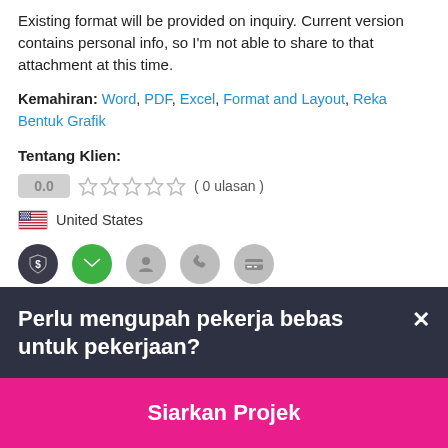Existing format will be provided on inquiry. Current version contains personal info, so I'm not able to share to that attachment at this time.
Kemahiran: Word, PDF, Excel, Format and Layout, Reka Bentuk Grafik
Tentang Klien:
0.0 ( 0 ulasan )
United States
[Figure (infographic): Row of five icons: dollar shield (dark), email/envelope (green), person/user (gray), phone (gray), credit card (gray)]
Perlu mengupah pekerja bebas untuk pekerjaan?
Siarkan Projek